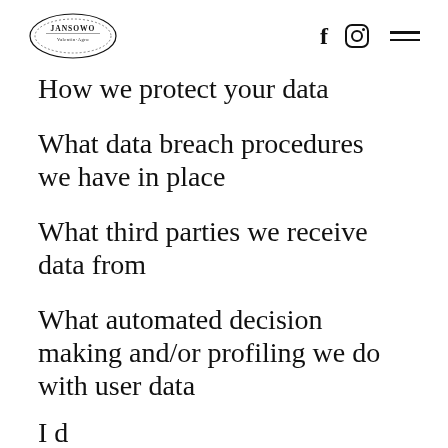JANSOWO [logo] | f | Instagram | menu
How we protect your data
What data breach procedures we have in place
What third parties we receive data from
What automated decision making and/or profiling we do with user data
I d... [cut off]